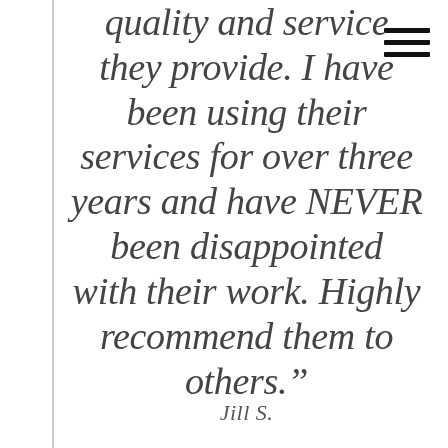quality and service they provide. I have been using their services for over three years and have NEVER been disappointed with their work. Highly recommend them to others.”
Jill S.